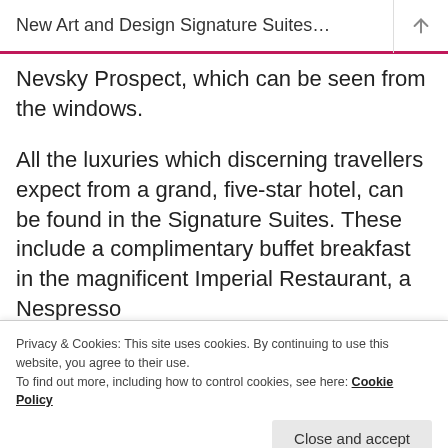New Art and Design Signature Suites…
Nevsky Prospect, which can be seen from the windows.
All the luxuries which discerning travellers expect from a grand, five-star hotel, can be found in the Signature Suites. These include a complimentary buffet breakfast in the magnificent Imperial Restaurant, a Nespresso
Privacy & Cookies: This site uses cookies. By continuing to use this website, you agree to their use.
To find out more, including how to control cookies, see here: Cookie Policy
Lounge, which offers breakfast, snacks and